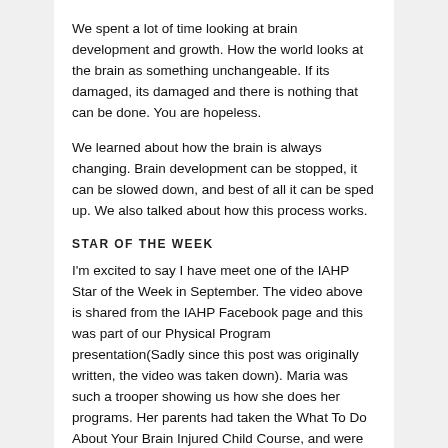We spent a lot of time looking at brain development and growth. How the world looks at the brain as something unchangeable. If its damaged, its damaged and there is nothing that can be done. You are hopeless.
We learned about how the brain is always changing. Brain development can be stopped, it can be slowed down, and best of all it can be sped up. We also talked about how this process works.
STAR OF THE WEEK
I'm excited to say I have meet one of the IAHP Star of the Week in September. The video above is shared from the IAHP Facebook page and this was part of our Physical Program presentation(Sadly since this post was originally written, the video was taken down). Maria was such a trooper showing us how she does her programs. Her parents had taken the What To Do About Your Brain Injured Child Course, and were now part of the intensive program.